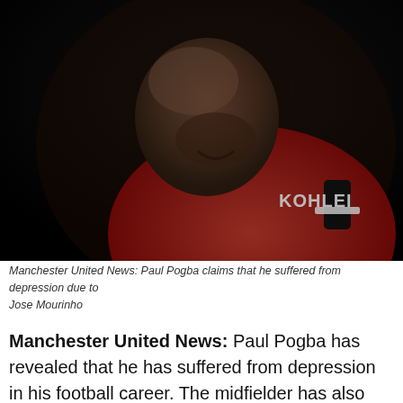[Figure (photo): Paul Pogba in a red Manchester United jersey with KOHLER sponsor text, head bowed down, dark background]
Manchester United News: Paul Pogba claims that he suffered from depression due to Jose Mourinho
Manchester United News: Paul Pogba has revealed that he has suffered from depression in his football career. The midfielder has also called out Jose Mourinho as the reason